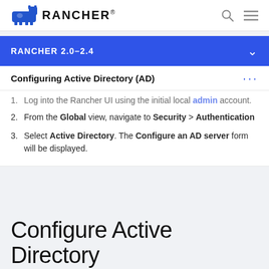RANCHER
RANCHER 2.0–2.4
Configuring Active Directory (AD)
Log into the Rancher UI using the initial local admin account.
From the Global view, navigate to Security > Authentication
Select Active Directory. The Configure an AD server form will be displayed.
Configure Active Directory